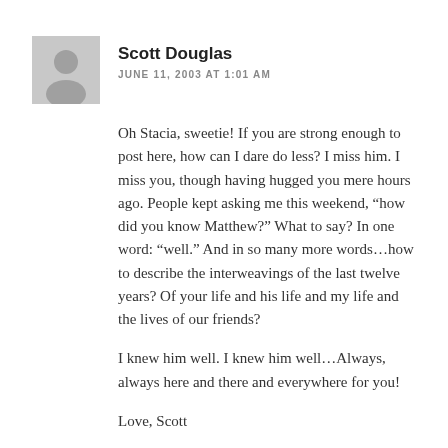Scott Douglas
JUNE 11, 2003 AT 1:01 AM
Oh Stacia, sweetie! If you are strong enough to post here, how can I dare do less? I miss him. I miss you, though having hugged you mere hours ago. People kept asking me this weekend, “how did you know Matthew?” What to say? In one word: “well.” And in so many more words…how to describe the interweavings of the last twelve years? Of your life and his life and my life and the lives of our friends?
I knew him well. I knew him well…Always, always here and there and everywhere for you!
Love, Scott